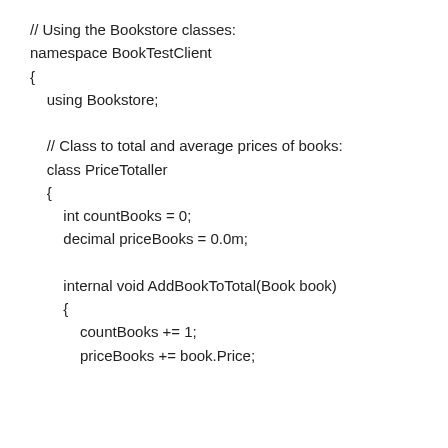// Using the Bookstore classes:
namespace BookTestClient
{
    using Bookstore;

    // Class to total and average prices of books:
    class PriceTotaller
    {
        int countBooks = 0;
        decimal priceBooks = 0.0m;

        internal void AddBookToTotal(Book book)
        {
            countBooks += 1;
            priceBooks += book.Price;